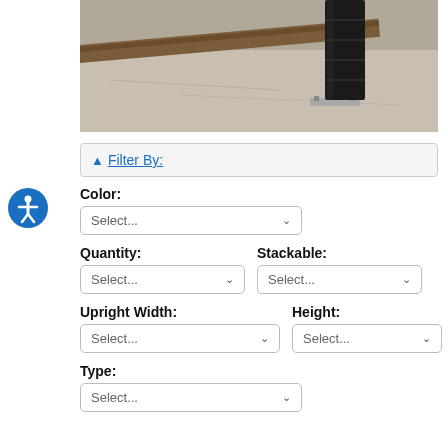[Figure (photo): Photo of a structural support post/column base on a concrete floor with a wooden beam, showing a black-wrapped post bolted to a metal base plate.]
Filter By:
Color:
Select...
Quantity:
Select...
Stackable:
Select...
Upright Width:
Select...
Height:
Select...
Type:
Select...